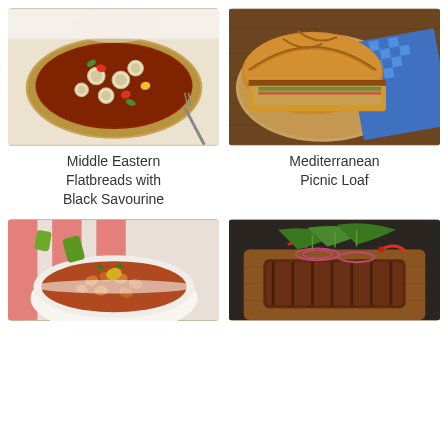[Figure (photo): Flatbread topped with meat sauce, artichoke hearts, peppers and cheese on a white background]
Middle Eastern Flatbreads with Black Savourine
[Figure (photo): Rustic bread loaf on a wooden cutting board with a blue checkered cloth, cut open to reveal filling]
Mediterranean Picnic Loaf
[Figure (photo): Bowl of bean and vegetable stew with a red and white checked cloth in the background]
[Figure (photo): Grilled meat topped with fresh herbs, red onion slices and chili peppers on a wooden board]